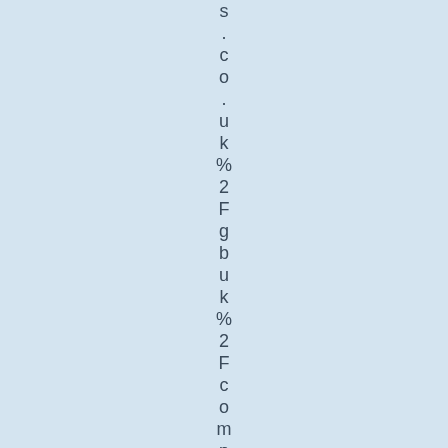s . c o . u k % 2 F g b u k % 2 F c o m p u t i